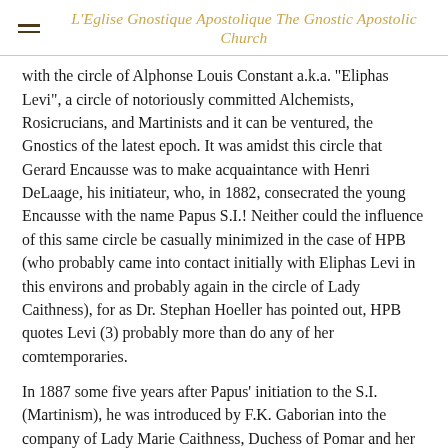L'Eglise Gnostique Apostolique The Gnostic Apostolic Church
with the circle of Alphonse Louis Constant a.k.a. "Eliphas Levi", a circle of notoriously committed Alchemists, Rosicrucians, and Martinists and it can be ventured, the Gnostics of the latest epoch. It was amidst this circle that Gerard Encausse was to make acquaintance with Henri DeLaage, his initiateur, who, in 1882, consecrated the young Encausse with the name Papus S.I.! Neither could the influence of this same circle be casually minimized in the case of HPB (who probably came into contact initially with Eliphas Levi in this environs and probably again in the circle of Lady Caithness), for as Dr. Stephan Hoeller has pointed out, HPB quotes Levi (3) probably more than do any of her comtemporaries.
In 1887 some five years after Papus' initiation to the S.I. (Martinism), he was introduced by F.K. Gaborian into the company of Lady Marie Caithness, Duchess of Pomar and her circle, which is now known to most in France as le Societe Theosophique d' Orient etd' Occident. Some five years prior,